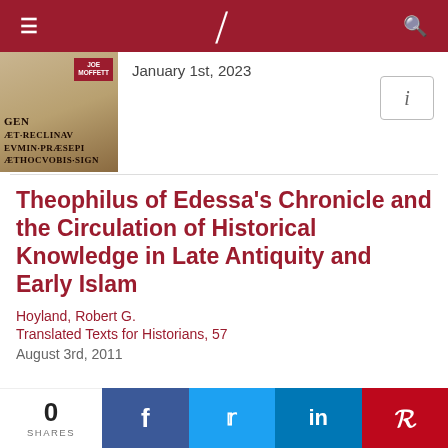Navigation bar with menu, logo, and search icons
January 1st, 2023
Theophilus of Edessa's Chronicle and the Circulation of Historical Knowledge in Late Antiquity and Early Islam
Hoyland, Robert G.
Translated Texts for Historians, 57
August 3rd, 2011
0 SHARES  Facebook  Twitter  LinkedIn  Pinterest